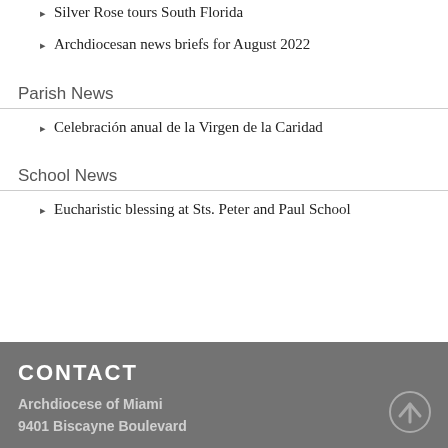Silver Rose tours South Florida
Archdiocesan news briefs for August 2022
Parish News
Celebración anual de la Virgen de la Caridad
School News
Eucharistic blessing at Sts. Peter and Paul School
CONTACT
Archdiocese of Miami
9401 Biscayne Boulevard